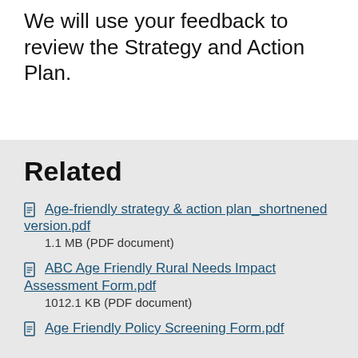We will use your feedback to review the Strategy and Action Plan.
Related
Age-friendly strategy & action plan_shortnened version.pdf
1.1 MB (PDF document)
ABC Age Friendly Rural Needs Impact Assessment Form.pdf
1012.1 KB (PDF document)
Age Friendly Policy Screening Form.pdf